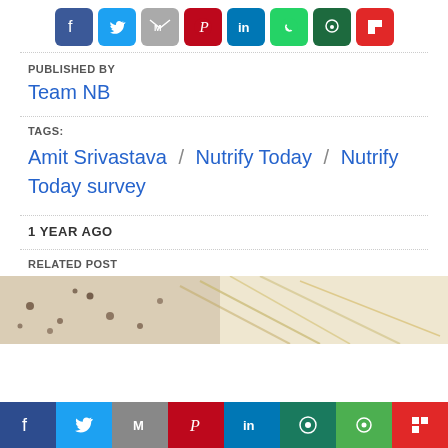[Figure (other): Social share icons row: Facebook (blue), Twitter (light blue), Gmail (gray), Pinterest (red), LinkedIn (blue), WhatsApp (green), Line (dark green), Flipboard (red)]
PUBLISHED BY
Team NB
TAGS:
Amit Srivastava / Nutrify Today / Nutrify Today survey
1 YEAR AGO
RELATED POST
[Figure (photo): Close-up photo of seeds or spices scattered on a light background]
[Figure (other): Bottom fixed social share bar: Facebook (dark blue), Twitter (blue), Gmail (gray), Pinterest (red), LinkedIn (blue), WhatsApp (teal), Line (green), Flipboard (red)]